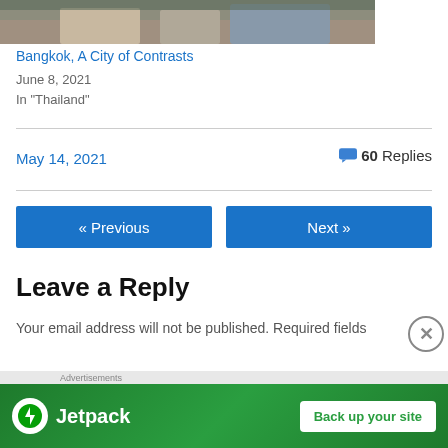[Figure (photo): Partial photo of Bangkok temple/monument, top portion visible]
Bangkok, A City of Contrasts
June 8, 2021
In "Thailand"
May 14, 2021
60 Replies
« Previous
Next »
Leave a Reply
Your email address will not be published. Required fields
Advertisements
[Figure (logo): Jetpack advertisement banner with Back up your site button]